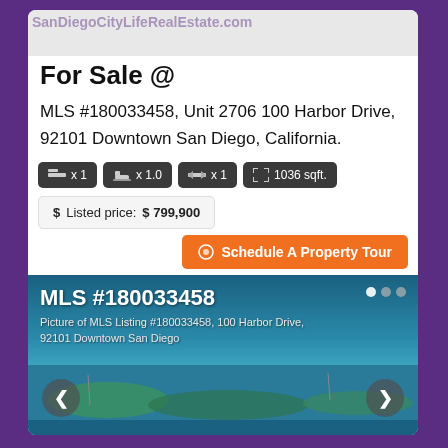SanDiegoCityLifeRealEstate.com
For Sale @
MLS #180033458, Unit 2706 100 Harbor Drive, 92101 Downtown San Diego, California.
x 1  x 1.0  x 1  1036 sqft.
$ Listed price: $ 799,900
Schedule A Property Tour
[Figure (photo): Photo of MLS listing #180033458 at 100 Harbor Drive, 92101 Downtown San Diego — aerial/waterfront view of the San Diego bay and waterfront, with navigation arrows and pagination dots overlay. Caption reads: MLS #180033458 / Picture of MLS Listing #180033458, 100 Harbor Drive, 92101 Downtown San Diego]